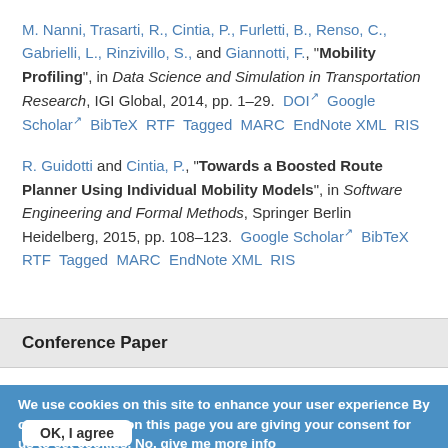M. Nanni, Trasarti, R., Cintia, P., Furletti, B., Renso, C., Gabrielli, L., Rinzivillo, S., and Giannotti, F., "Mobility Profiling", in Data Science and Simulation in Transportation Research, IGI Global, 2014, pp. 1–29. DOI Google Scholar BibTeX RTF Tagged MARC EndNote XML RIS
R. Guidotti and Cintia, P., "Towards a Boosted Route Planner Using Individual Mobility Models", in Software Engineering and Formal Methods, Springer Berlin Heidelberg, 2015, pp. 108–123. Google Scholar BibTeX RTF Tagged MARC EndNote XML RIS
Conference Paper
We use cookies on this site to enhance your user experience By clicking any link on this page you are giving your consent for us to set cookies. No, give me more info